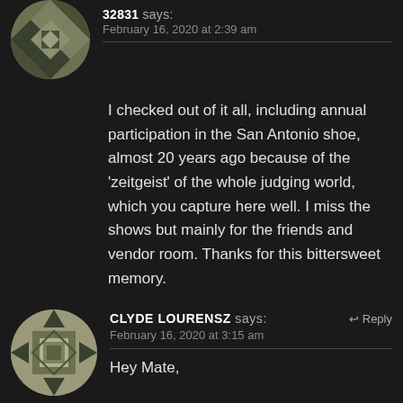[Figure (illustration): Circular avatar with geometric quilt-like pattern in olive/grey tones, top-left of page, partially cropped]
32831 says:
February 16, 2020 at 2:39 am
I checked out of it all, including annual participation in the San Antonio shoe, almost 20 years ago because of the ‘zeitgeist’ of the whole judging world, which you capture here well. I miss the shows but mainly for the friends and vendor room. Thanks for this bittersweet memory.
[Figure (illustration): Circular avatar with geometric quilt-like pattern in olive/grey tones, bottom-left area]
CLYDE LOURENSZ says:
February 16, 2020 at 3:15 am
Hey Mate,